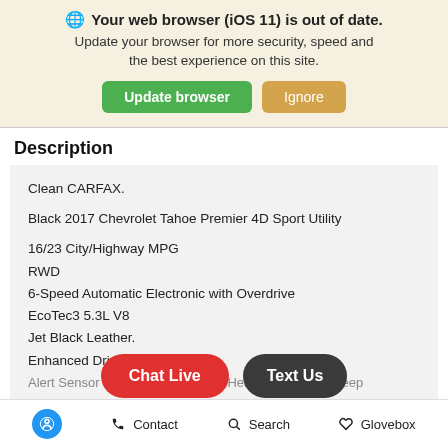[Figure (screenshot): Browser update banner with globe icon, bold warning text, and two buttons: Update browser (green) and Ignore (tan/gold)]
Description
Clean CARFAX.
Black 2017 Chevrolet Tahoe Premier 4D Sport Utility
16/23 City/Highway MPG
RWD
6-Speed Automatic Electronic with Overdrive
EcoTec3 5.3L V8
Jet Black Leather.
Enhanced Driver Alert Packa... d C...
Alert Sensor Indicator, IntelliBeam Headlamps, Lane Keep...
[Figure (screenshot): Chat Live (red pill button) and Text Us (dark pill button) floating over content]
Accessibility icon | Contact | Search | Glovebox